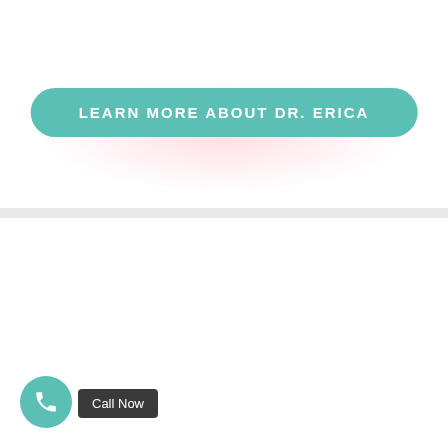[Figure (other): Hamburger menu button (three horizontal lines) in top-right corner with rounded rectangle border]
[Figure (other): Teal/green rounded pill-shaped button with pink glow background effect]
LEARN MORE ABOUT DR. ERICA
Recent Posts
The Best Way to Whiten Teeth: Answers to Common Questions
Dental Care for Adults Without Insurance
How To Stop Grinding Teeth During Sleep
How to Choose Between Aligners vs. Braces
How to Fix Stained Teeth for a Whiter Smile
[Figure (other): Teal circular phone/call button with phone icon]
Call Now